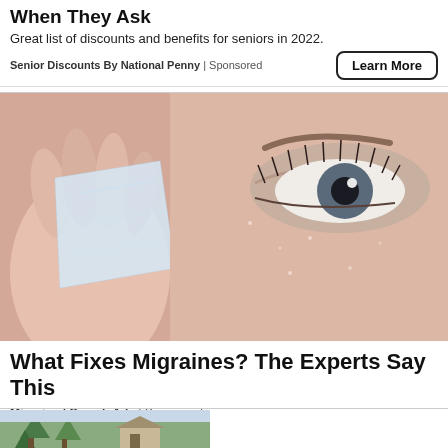When They Ask
Great list of discounts and benefits for seniors in 2022.
Senior Discounts By National Penny | Sponsored
[Figure (photo): Close-up of a person holding a piece of ice against their face, near one eye, with detailed eyelashes and makeup visible.]
What Fixes Migraines? The Experts Say This
Migraine | Search Ads | Sponsored
[Figure (photo): Partial bottom image showing a property or house scene with greenery.]